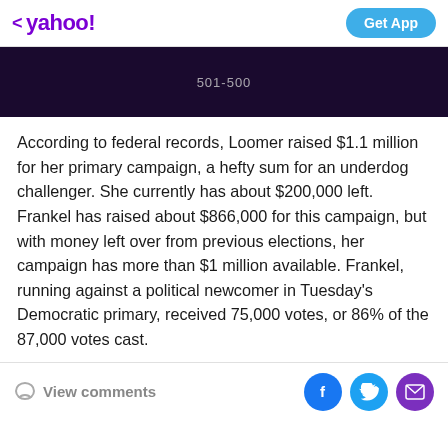< yahoo! | Get App
[Figure (screenshot): Dark video thumbnail with timecode 501-500 visible in center]
According to federal records, Loomer raised $1.1 million for her primary campaign, a hefty sum for an underdog challenger. She currently has about $200,000 left. Frankel has raised about $866,000 for this campaign, but with money left over from previous elections, her campaign has more than $1 million available. Frankel, running against a political newcomer in Tuesday's Democratic primary, received 75,000 votes, or 86% of the 87,000 votes cast.
View comments | Facebook | Twitter | Mail